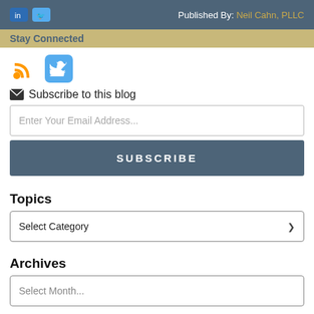Published By: Neil Cahn, PLLC
Stay Connected
[Figure (illustration): RSS feed icon (orange) and Twitter bird icon (blue) for social media links]
Subscribe to this blog
Enter Your Email Address...
SUBSCRIBE
Topics
Select Category
Archives
Select Month...